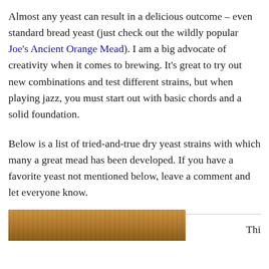Almost any yeast can result in a delicious outcome – even standard bread yeast (just check out the wildly popular Joe's Ancient Orange Mead). I am a big advocate of creativity when it comes to brewing. It's great to try out new combinations and test different strains, but when playing jazz, you must start out with basic chords and a solid foundation.
Below is a list of tried-and-true dry yeast strains with which many a great mead has been developed. If you have a favorite yeast not mentioned below, leave a comment and let everyone know.
Lalvin D-47
[Figure (photo): Partial image of a bottle or jar with amber/brown coloring, cropped at bottom of page]